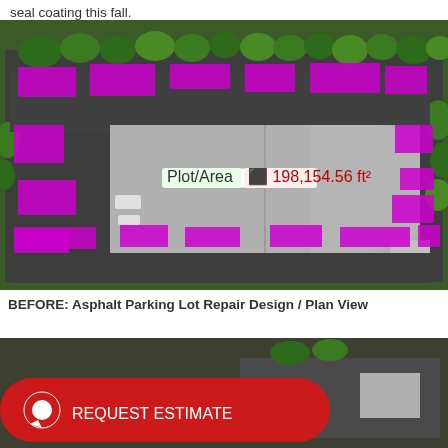seal coating this fall.
[Figure (photo): Aerial/plan view of a commercial parking lot with purple/magenta highlighted repair areas overlaid on an aerial photograph. A large gray flat-roofed building occupies the center. A small popup label is visible over the building.]
BEFORE: Asphalt Parking Lot Repair Design / Plan View
[Figure (photo): Bottom portion of a second aerial photo of the parking lot area, partially visible. Overlaid in the lower left is a red REQUEST ESTIMATE button with a chat bubble icon.]